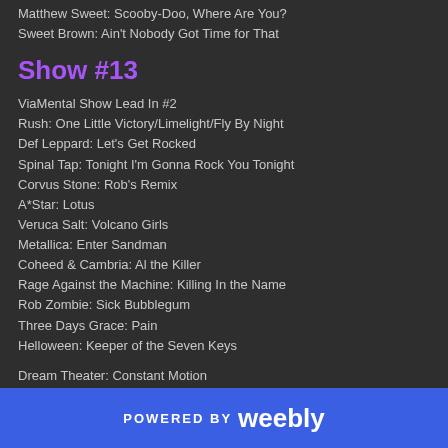Matthew Sweet: Scooby-Doo, Where Are You?
Sweet Brown: Ain't Nobody Got Time for That
Show #13
ViaMental Show Lead In #2
Rush: One Little Victory/Limelight/Fly By Night
Def Leppard: Let's Get Rocked
Spinal Tap: Tonight I'm Gonna Rock You Tonight
Corvus Stone: Rob's Remix
A*Star: Lotus
Veruca Salt: Volcano Girls
Metallica: Enter Sandman
Coheed & Cambria: Al the Killer
Rage Against the Machine: Killing In the Name
Rob Zombie: Sick Bubblegum
Three Days Grace: Pain
Helloween: Keeper of the Seven Keys
Dream Theater: Constant Motion
Guns N' Roses: November Rain
Kansas: Carry On Wayward Son
Nirvana: Heart Shaped Box
Spock's Beard: The Water
POWERED BY weebly